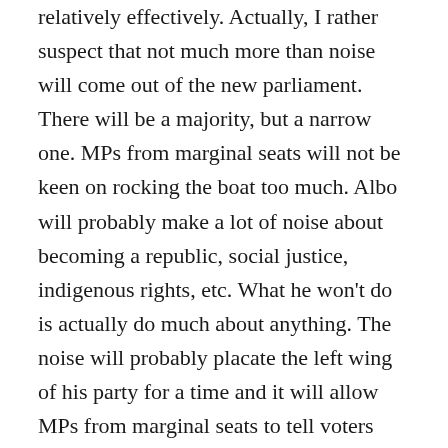relatively effectively. Actually, I rather suspect that not much more than noise will come out of the new parliament. There will be a majority, but a narrow one. MPs from marginal seats will not be keen on rocking the boat too much. Albo will probably make a lot of noise about becoming a republic, social justice, indigenous rights, etc. What he won't do is actually do much about anything. The noise will probably placate the left wing of his party for a time and it will allow MPs from marginal seats to tell voters that they didn't do too much to damage Australia. Much, I think, will rely on the path that the Coalition takes. It's not an easy position. If they go the Turnbull way, they'll lose support in regional Australia and the outer suburbs. In New South Wales, the Hunters